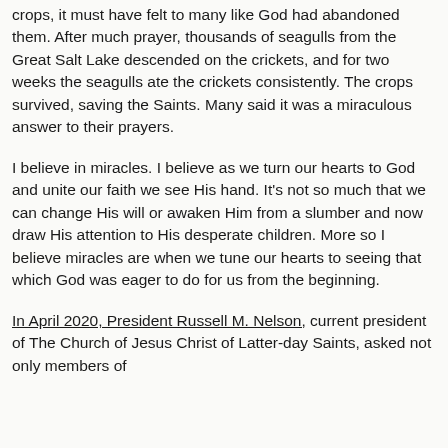crops, it must have felt to many like God had abandoned them. After much prayer, thousands of seagulls from the Great Salt Lake descended on the crickets, and for two weeks the seagulls ate the crickets consistently. The crops survived, saving the Saints. Many said it was a miraculous answer to their prayers.
I believe in miracles. I believe as we turn our hearts to God and unite our faith we see His hand. It's not so much that we can change His will or awaken Him from a slumber and now draw His attention to His desperate children. More so I believe miracles are when we tune our hearts to seeing that which God was eager to do for us from the beginning.
In April 2020, President Russell M. Nelson, current president of The Church of Jesus Christ of Latter-day Saints, asked not only members of